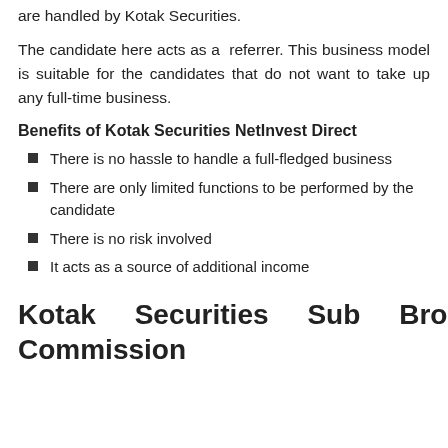are handled by Kotak Securities.
The candidate here acts as a referrer. This business model is suitable for the candidates that do not want to take up any full-time business.
Benefits of Kotak Securities NetInvest Direct
There is no hassle to handle a full-fledged business
There are only limited functions to be performed by the candidate
There is no risk involved
It acts as a source of additional income
Kotak Securities Sub Broker Commission